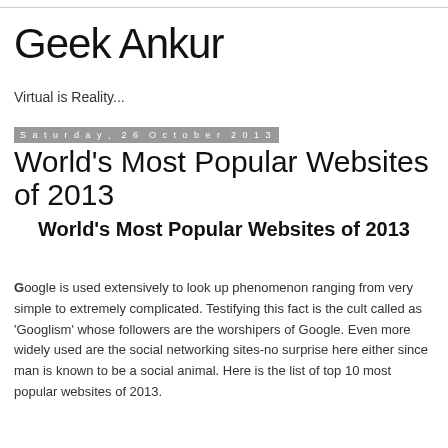Geek Ankur
Virtual is Reality...
Saturday, 26 October 2013
World's Most Popular Websites of 2013
World's Most Popular Websites of 2013
Google is used extensively to look up phenomenon ranging from very simple to extremely complicated. Testifying this fact is the cult called as 'Googlism' whose followers are the worshipers of Google. Even more widely used are the social networking sites-no surprise here either since man is known to be a social animal. Here is the list of top 10 most popular websites of 2013.